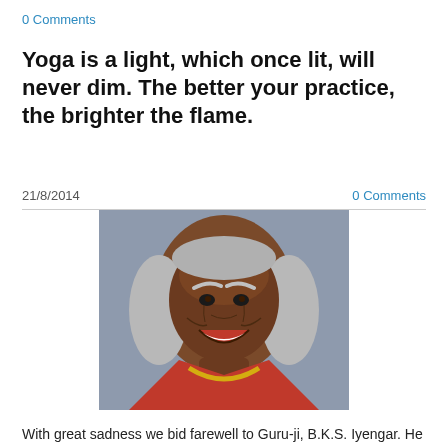0 Comments
Yoga is a light, which once lit, will never dim. The better your practice, the brighter the flame.
21/8/2014	0 Comments
[Figure (photo): Portrait photo of B.K.S. Iyengar, an elderly Indian man with long grey hair, smiling broadly, wearing a red garment with a yellow garland, with a red tilaka mark on his forehead, against a grey background.]
With great sadness we bid farewell to Guru-ji, B.K.S. Iyengar. He passed away in the Southern Indian city of Pune yesterday. He lived a ripe old age and was 95 years old.
Thank you to the great teacher who brought yoga to the West and lit